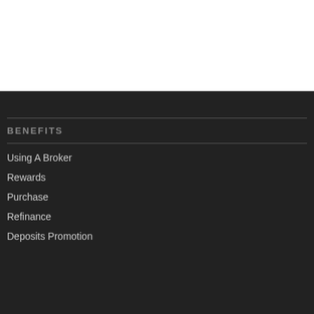BENEFITS
Using A Broker
Rewards
Purchase
Refinance
Deposits Promotion